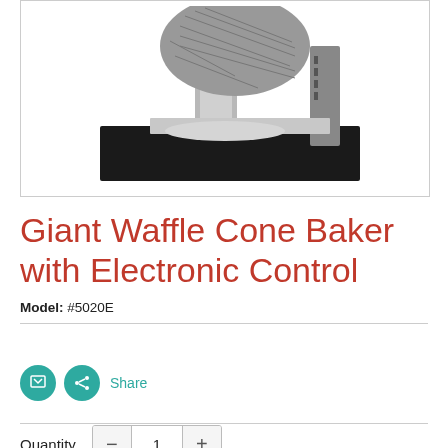[Figure (photo): Stainless steel Giant Waffle Cone Baker appliance on a black base, photographed against a white background]
Giant Waffle Cone Baker with Electronic Control
Model: #5020E
Share
Quantity  1